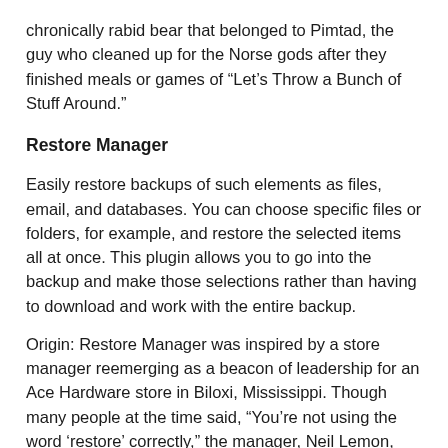chronically rabid bear that belonged to Pimtad, the guy who cleaned up for the Norse gods after they finished meals or games of “Let’s Throw a Bunch of Stuff Around.”
Restore Manager
Easily restore backups of such elements as files, email, and databases. You can choose specific files or folders, for example, and restore the selected items all at once. This plugin allows you to go into the backup and make those selections rather than having to download and work with the entire backup.
Origin: Restore Manager was inspired by a store manager reemerging as a beacon of leadership for an Ace Hardware store in Biloxi, Mississippi. Though many people at the time said, “You’re not using the word ‘restore’ correctly,” the manager, Neil Lemon, went against all odds and kept referring to himself by the improper designation.